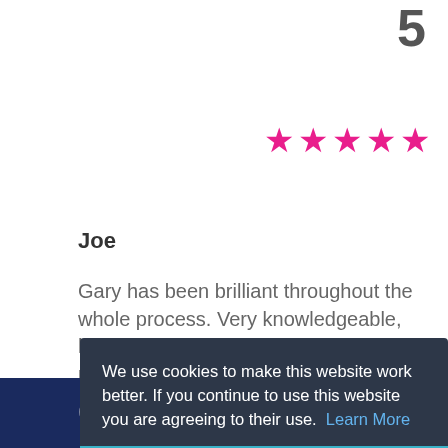5
[Figure (illustration): Five pink star rating icons in a row]
Joe
Gary has been brilliant throughout the whole process. Very knowledgeable, helpful and efficient. The service provided as a whole, has been
We use cookies to make this website work better. If you continue to use this website you are agreeing to their use.  Learn More
Accept and Close